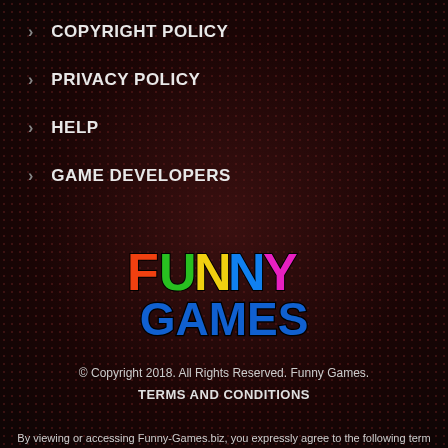> COPYRIGHT POLICY
> PRIVACY POLICY
> HELP
> GAME DEVELOPERS
[Figure (logo): Funny Games colorful logo with cartoon-style bubble letters. 'FUNNY' in multicolor letters (orange F, green U, yellow N, blue N, pink Y) and 'GAMES' in blue bubble letters below.]
© Copyright 2018. All Rights Reserved. Funny Games.
TERMS AND CONDITIONS
By viewing or accessing Funny-Games.biz, you expressly agree to the following term